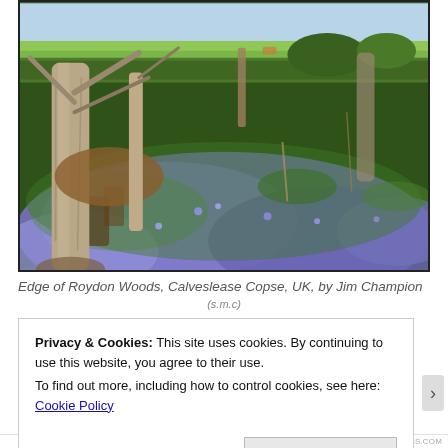[Figure (photo): Photograph of the edge of Roydon Woods, Calveslease Copse, UK. Shows a woodland scene with bluebells (purple/blue flowers) covering the ground, tree trunks and bare branches in the foreground, and a green field visible in the background under a light blue sky.]
Edge of Roydon Woods, Calveslease Copse, UK, by Jim Champion (s.m.c)
Privacy & Cookies: This site uses cookies. By continuing to use this website, you agree to their use.
To find out more, including how to control cookies, see here: Cookie Policy
Close and accept